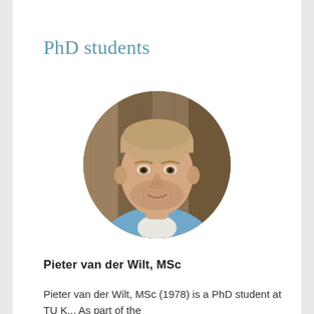PhD students
[Figure (photo): Circular portrait photo of Pieter van der Wilt, a middle-aged man with short blond hair and stubble, wearing a light blue shirt, posed in front of a wooden fence background.]
Pieter van der Wilt, MSc
Pieter van der Wilt, MSc (1978) is a PhD student at TU K... As part of the...